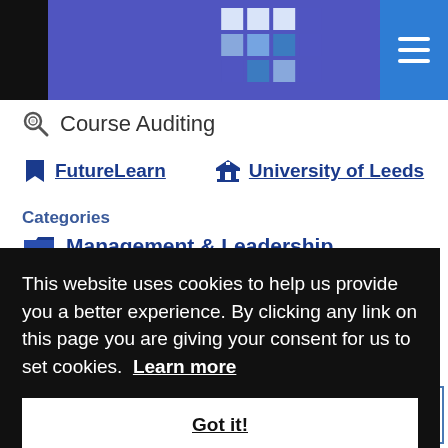[Figure (screenshot): Website header banner with blue/purple background, black block on left, pixel mosaic logo decoration, and hamburger menu button on right]
Course Auditing
FutureLearn   University of Leeds
Categories
Management & Leadership
This website uses cookies to help us provide you a better experience. By clicking any link on this page you are giving your consent for us to set cookies.  Learn more
Got it!
innovate and discover the story behind a